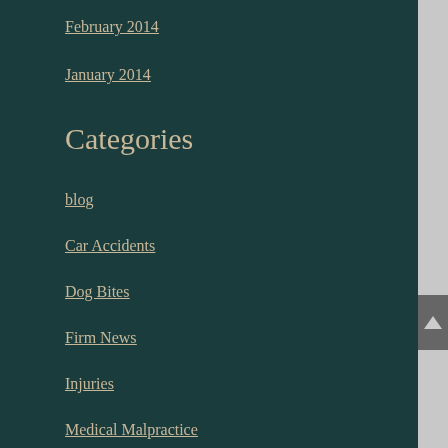February 2014
January 2014
Categories
blog
Car Accidents
Dog Bites
Firm News
Injuries
Medical Malpractice